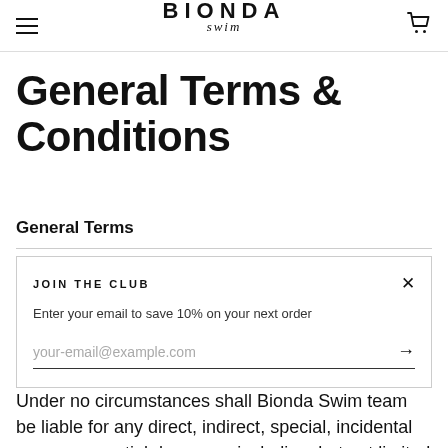BIONDA Swim
General Terms & Conditions
General Terms
JOIN THE CLUB
Enter your email to save 10% on your next order
your-email@example.com
Under no circumstances shall Bionda Swim team be liable for any direct, indirect, special, incidental or consequential damages, including, but not limited to,